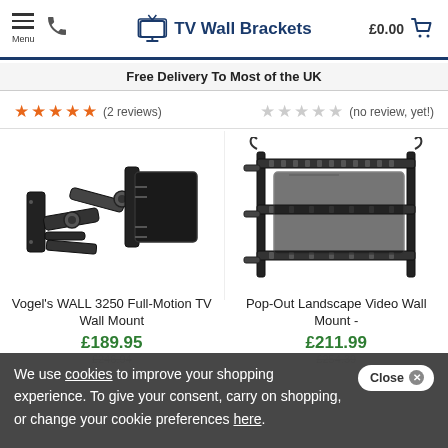Menu | Phone | TV Wall Brackets | £0.00 cart
Free Delivery To Most of the UK
★★★★★ (2 reviews)   ☆☆☆☆☆ (no review, yet!)
[Figure (photo): Vogel's WALL 3250 Full-Motion TV Wall Mount product image showing articulating arm bracket in black]
Vogel's WALL 3250 Full-Motion TV Wall Mount
£189.95
£246.94
[Figure (photo): Pop-Out Landscape Video Wall Mount product image showing side-by-side dual bracket mechanism in black]
Pop-Out Landscape Video Wall Mount -
£211.99
£254.39
Close ✕  We use cookies to improve your shopping experience. To give your consent, carry on shopping, or change your cookie preferences here.